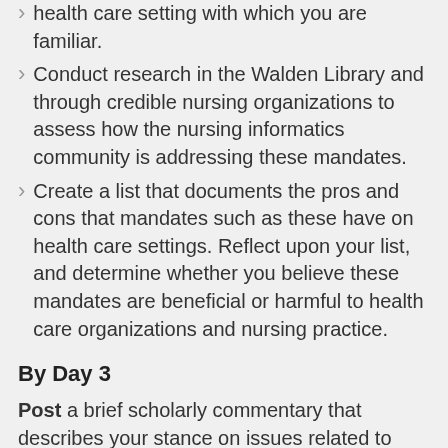health care setting with which you are familiar.
Conduct research in the Walden Library and through credible nursing organizations to assess how the nursing informatics community is addressing these mandates.
Create a list that documents the pros and cons that mandates such as these have on health care settings. Reflect upon your list, and determine whether you believe these mandates are beneficial or harmful to health care organizations and nursing practice.
By Day 3
Post a brief scholarly commentary that describes your stance on issues related to HITECH and use of technology in nursing